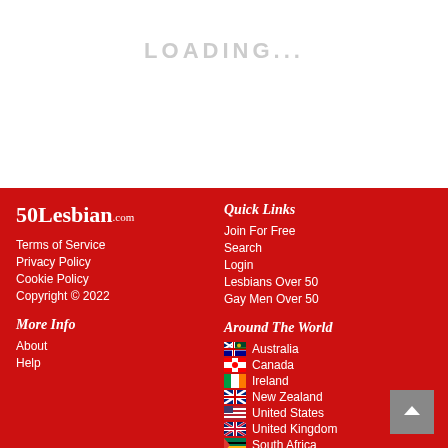LOADING...
50Lesbian.com
Terms of Service
Privacy Policy
Cookie Policy
Copyright © 2022
More Info
About
Help
Quick Links
Join For Free
Search
Login
Lesbians Over 50
Gay Men Over 50
Around The World
Australia
Canada
Ireland
New Zealand
United States
United Kingdom
South Africa